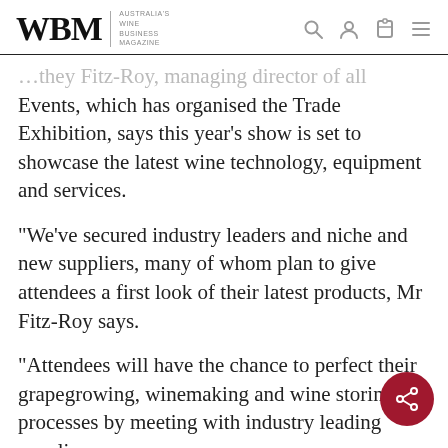WBM | AUSTRALIA'S WINE BUSINESS MAGAZINE
…they Fitz-Roy, managing director of all Events, which has organised the Trade Exhibition, says this year's show is set to showcase the latest wine technology, equipment and services.
“We’ve secured industry leaders and niche and new suppliers, many of whom plan to give attendees a first look of their latest products, Mr Fitz-Roy says.
“Attendees will have the chance to perfect their grapegrowing, winemaking and wine storing processes by meeting with industry leading suppliers.